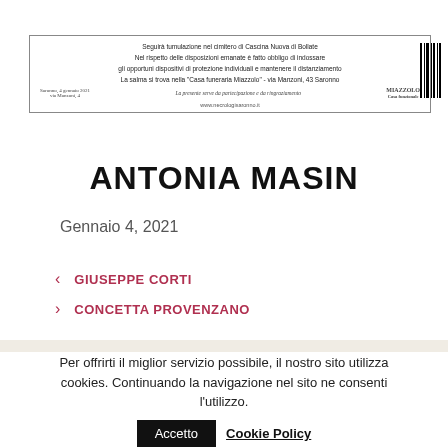[Figure (other): Scanned funeral notice for Antonia Masin showing text about burial at Cascina Nuova di Bollate, COVID precautions, body location at Casa funeraria Miazzolo via Manzoni 43 Saronno, with barcode and website www.necrologisaronno.it]
ANTONIA MASIN
Gennaio 4, 2021
< GIUSEPPE CORTI
> CONCETTA PROVENZANO
Per offrirti il miglior servizio possibile, il nostro sito utilizza cookies. Continuando la navigazione nel sito ne consenti l'utilizzo. Accetto Cookie Policy